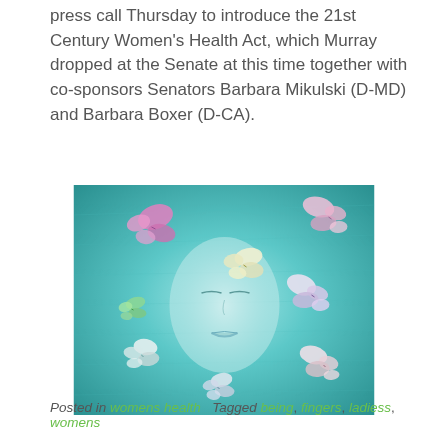press call Thursday to introduce the 21st Century Women's Health Act, which Murray dropped at the Senate at this time together with co-sponsors Senators Barbara Mikulski (D-MD) and Barbara Boxer (D-CA).
[Figure (illustration): An artistic illustration of a woman's face with closed eyes, rendered in blue and teal tones, surrounded by colorful butterflies in pink, white, purple, and green.]
Posted in womens health   Tagged being, fingers, ladiess, womens